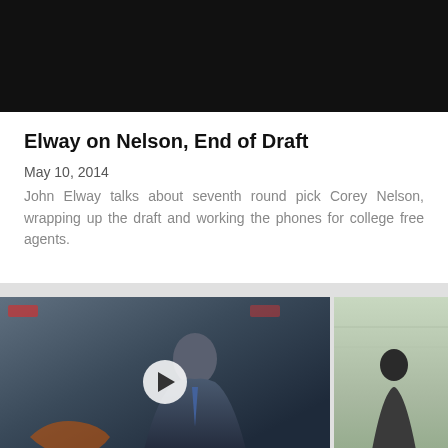[Figure (photo): Dark/black background image at top of page]
Elway on Nelson, End of Draft
May 10, 2014
John Elway talks about seventh round pick Corey Nelson, wrapping up the draft and working the phones for college free agents.
[Figure (photo): Video thumbnail showing a man in a suit at a press conference with a play button overlay, and a partial second thumbnail of a person on a sports field]
[Figure (photo): Partial thumbnail on the right showing a person at what appears to be a sports facility]